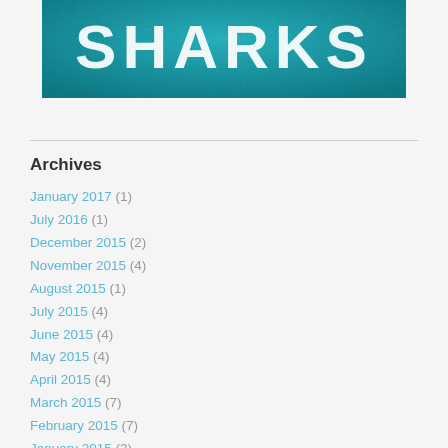[Figure (photo): Book or banner image with the word SHARKS in large white bold letters on a teal/turquoise textured background]
Archives
January 2017 (1)
July 2016 (1)
December 2015 (2)
November 2015 (4)
August 2015 (1)
July 2015 (4)
June 2015 (4)
May 2015 (4)
April 2015 (4)
March 2015 (7)
February 2015 (7)
January 2015 (3)
December 2014 (4)
November 2014 (2)